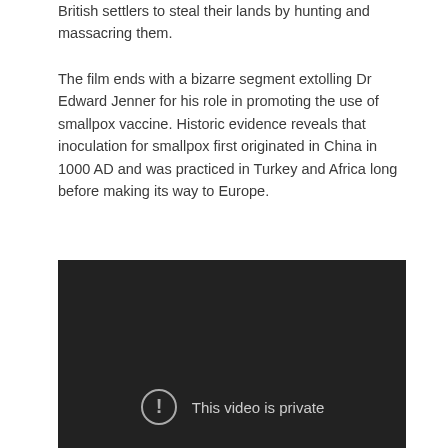British settlers to steal their lands by hunting and massacring them.
The film ends with a bizarre segment extolling Dr Edward Jenner for his role in promoting the use of smallpox vaccine. Historic evidence reveals that inoculation for smallpox first originated in China in 1000 AD and was practiced in Turkey and Africa long before making its way to Europe.
[Figure (screenshot): A dark video player showing a private video message. A circle with an exclamation mark icon is shown alongside the text 'This video is private'.]